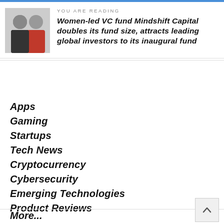YOU ARE READING
Women-led VC fund Mindshift Capital doubles its fund size, attracts leading global investors to its inaugural fund
Apps
Gaming
Startups
Tech News
Cryptocurrency
Cybersecurity
Emerging Technologies
Product Reviews
More...